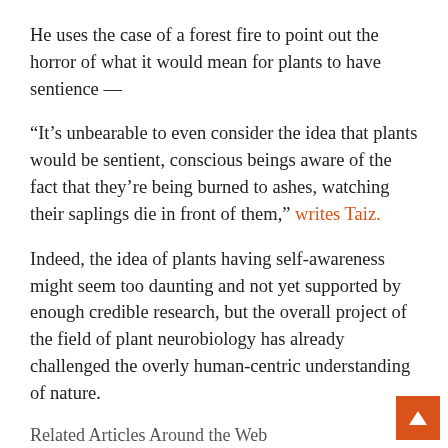He uses the case of a forest fire to point out the horror of what it would mean for plants to have sentience —
“It’s unbearable to even consider the idea that plants would be sentient, conscious beings aware of the fact that they’re being burned to ashes, watching their saplings die in front of them,” writes Taiz.
Indeed, the idea of plants having self-awareness might seem too daunting and not yet supported by enough credible research, but the overall project of the field of plant neurobiology has already challenged the overly human-centric understanding of nature.
Related Articles Around the Web
A Mind Without A Brain: The Science Of Plant Intelligence Takes Root ›
The Intelligent Plant | The New Yorker ›
A debate over plant consciousness is forcing us to